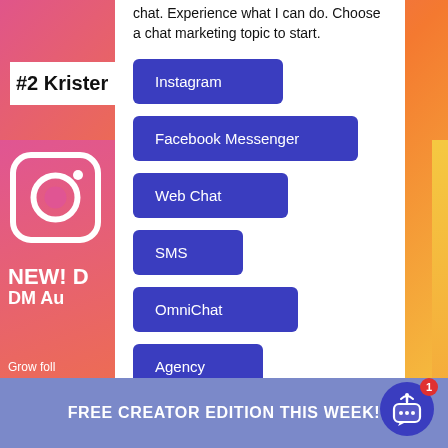chat. Experience what I can do. Choose a chat marketing topic to start.
#2 Kristen
Instagram
Facebook Messenger
Web Chat
SMS
OmniChat
Agency
[Figure (logo): Instagram logo icon (white camera outline on pink/gradient background)]
NEW! D
DM Au
Grow foll
via Instag
FREE CREATOR EDITION THIS WEEK!
[Figure (illustration): Chat bot widget icon — blue circle with antenna and speech bubble showing ellipsis, with red badge showing '1']